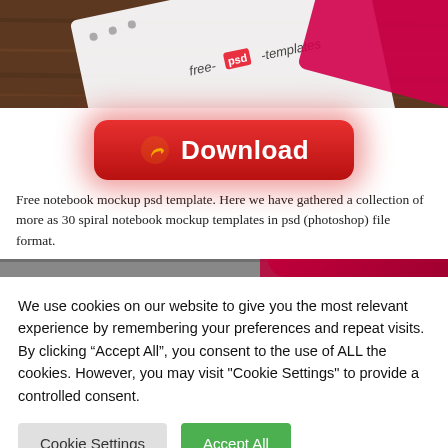[Figure (photo): Spiral notebook mockup with 'free-psd-templates' logo on wooden background]
[Figure (infographic): Red rounded Download button with yellow arrow icon and glow effect]
Free notebook mockup psd template. Here we have gathered a collection of more as 30 spiral notebook mockup templates in psd (photoshop) file format.
[Figure (photo): Partial photo strip showing red/dark element]
We use cookies on our website to give you the most relevant experience by remembering your preferences and repeat visits. By clicking “Accept All”, you consent to the use of ALL the cookies. However, you may visit "Cookie Settings" to provide a controlled consent.